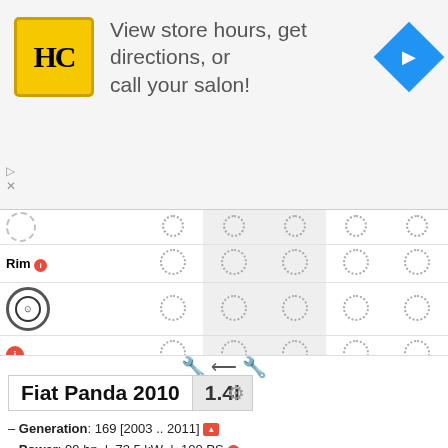[Figure (screenshot): Advertisement banner: HC logo, text 'View store hours, get directions, or call your salon!', blue navigation arrow icon]
[Figure (screenshot): Rim/wheel comparison table with dotted circle spinner icons in a grid layout]
[Figure (screenshot): Width comparison icon with two hand/wrench icons and arrow]
Fiat Panda 2010  1.4i
Generation: 169 [2003 .. 2011]
Power: 99 hp | 73.5 kW | 100 PS
Engine: 1.4L, [spinner], Petrol
Center Bore: [spinner]
PCD: [spinner]
Wheel Fasteners: Lug bolts